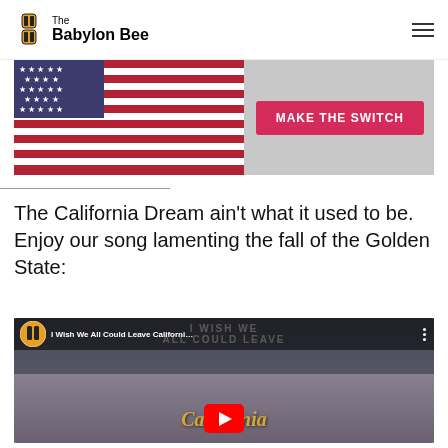The Babylon Bee
[Figure (photo): Advertisement banner showing an American flag with a pink 'MAKE THE SWITCH' button]
The California Dream ain't what it used to be. Enjoy our song lamenting the fall of the Golden State:
[Figure (screenshot): YouTube video thumbnail for 'I Wish We All Could Leave Californi...' showing people in front of a California sign with the Babylon Bee logo]